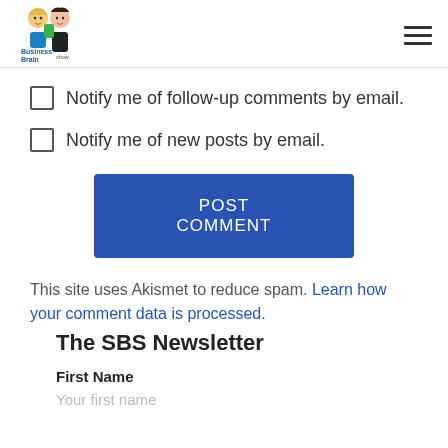BusinessBrain Show
Notify me of follow-up comments by email.
Notify me of new posts by email.
POST COMMENT
This site uses Akismet to reduce spam. Learn how your comment data is processed.
The SBS Newsletter
First Name
Your first name